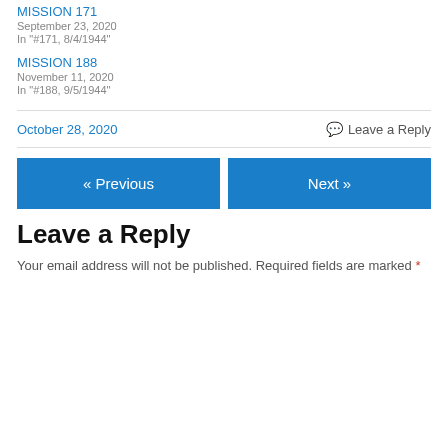MISSION 171
September 23, 2020
In "#171, 8/4/1944"
MISSION 188
November 11, 2020
In "#188, 9/5/1944"
October 28, 2020
Leave a Reply
« Previous
Next »
Leave a Reply
Your email address will not be published. Required fields are marked *